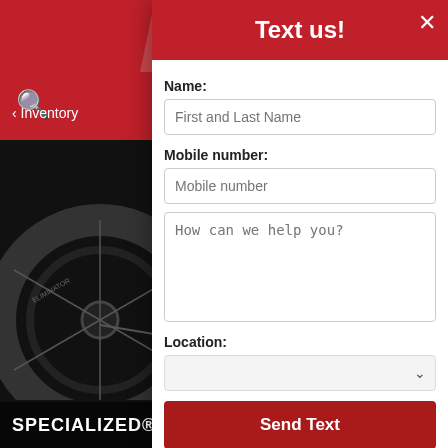[Figure (screenshot): Background showing a dark product photo of a Specialized Levo Expert Carbon mountain bike rear wheel and drivetrain, partially obscured by a modal dialog overlay. Red navigation bars visible at top.]
Text us!
Name:
First and Last Name
Mobile number:
Mobile number
How can we help you?
Location:
Send Text
Powered by  Ikeono
‹ Inventory
SPECIALIZED® LEVO EXPERT CARBON